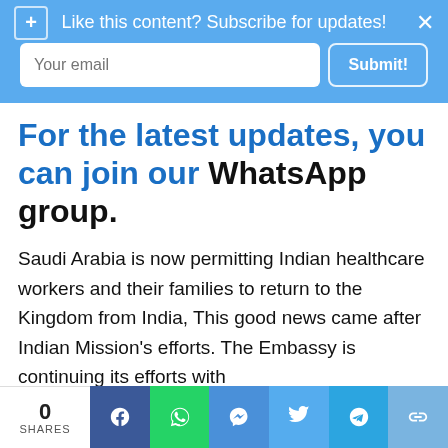Like this content? Subscribe for updates!
For the latest updates, you can join our WhatsApp group.
Saudi Arabia is now permitting Indian healthcare workers and their families to return to the Kingdom from India, This good news came after Indian Mission's efforts. The Embassy is continuing its efforts with
0 SHARES